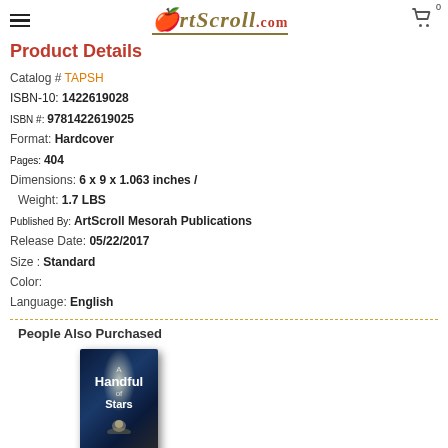ArtScroll.com
Product Details
Catalog # TAPSH
ISBN-10: 1422619028
ISBN #: 9781422619025
Format: Hardcover
Pages: 404
Dimensions: 6 x 9 x 1.063 inches / Weight: 1.7 LBS
Published By: ArtScroll Mesorah Publications
Release Date: 05/22/2017
Size : Standard
Color:
Language: English
People Also Purchased
[Figure (photo): Book cover of 'A Handful of Stars']